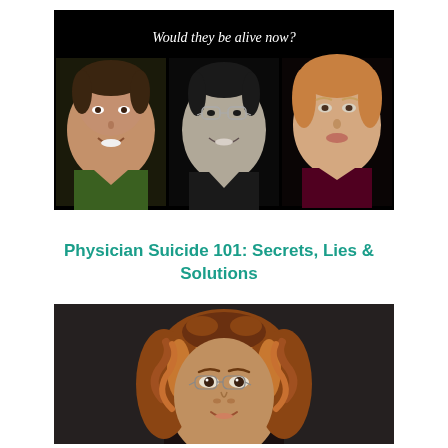[Figure (photo): Book cover image showing three portrait photos (two men and one woman) arranged side by side on a black background with the text 'Would they be alive now?' above them]
Physician Suicide 101: Secrets, Lies & Solutions
[Figure (photo): Portrait photo of a woman with curly auburn/highlighted hair and glasses, appearing to be the book's author, shown from shoulders up against a dark background]